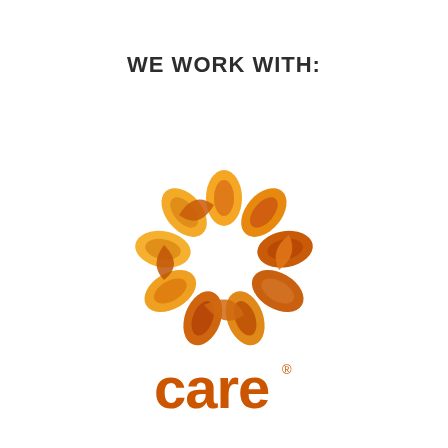WE WORK WITH:
[Figure (logo): CARE international logo — a circular arrangement of hands in orange and yellow tones with a white center, above the word 'care' in bold orange lowercase letters with a registered trademark symbol]